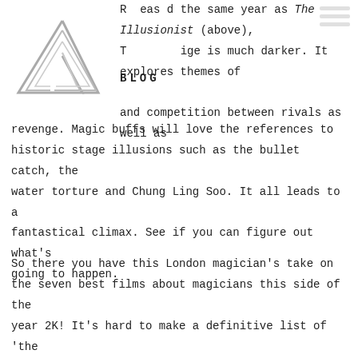[Figure (logo): Penrose triangle / impossible triangle logo outline in black lines]
[Figure (other): Hamburger menu icon with three horizontal lines in light gray on top right]
Released the same year as The Illusionist (above), The Prestige is much darker. It explores themes of BLOG and competition between rivals as well as revenge. Magic buffs will love the references to historic stage illusions such as the bullet catch, the water torture and Chung Ling Soo. It all leads to a fantastical climax. See if you can figure out what's going to happen.
So there you have this London magician's take on the seven best films about magicians this side of the year 2K! It's hard to make a definitive list of 'the best'. But based on artistry, creativity, storytelling and maybe even just a je ne sais quoi, these are